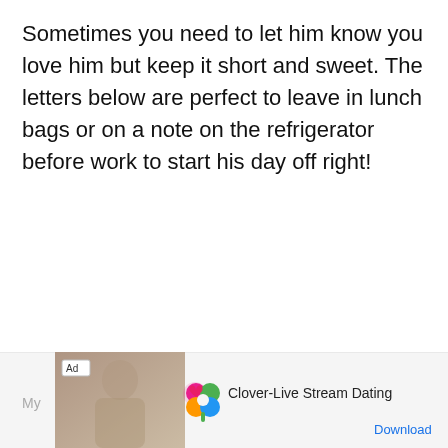Sometimes you need to let him know you love him but keep it short and sweet. The letters below are perfect to leave in lunch bags or on a note on the refrigerator before work to start his day off right!
[Figure (screenshot): Mobile advertisement bar at the bottom of the screen. Shows 'My' text on the left, an 'Ad' badge over a photo of a woman, a four-leaf clover icon (pink, green, orange petals), text 'Clover-Live Stream Dating', and a blue 'Download' link.]